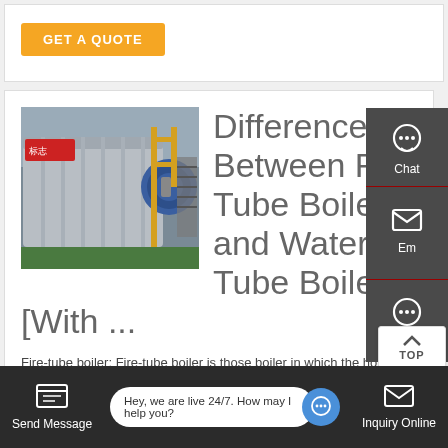GET A QUOTE
[Figure (photo): Industrial fire tube boiler equipment photographed in a factory setting, showing cylindrical metal components, blue drum, and yellow scaffolding structure]
Difference Between Fire Tube Boiler and Water Tube Boiler [With ...
Fire-tube boiler: Fire-tube boiler is those boiler in which the hot gas is present inside the tubes and water surrounds these fire tubes. Since fire is inside the tubes and hence it is named as fire tube boiler. The heat from the hot gases is conducted through the
Chat
Email
Contact
Send Message
Hey, we are live 24/7. How may I help you?
Inquiry Online